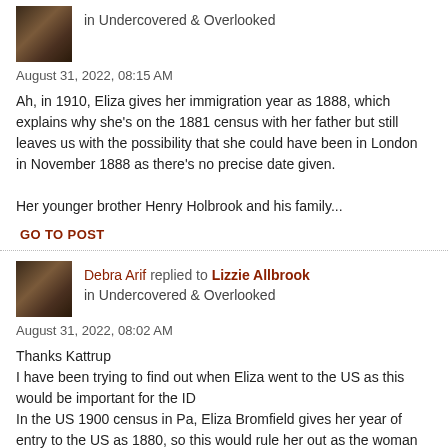in Undercovered & Overlooked
August 31, 2022, 08:15 AM
Ah, in 1910, Eliza gives her immigration year as 1888, which explains why she's on the 1881 census with her father but still leaves us with the possibility that she could have been in London in November 1888 as there's no precise date given.

Her younger brother Henry Holbrook and his family...
GO TO POST
Debra Arif replied to Lizzie Allbrook in Undercovered & Overlooked
August 31, 2022, 08:02 AM
Thanks Kattrup
I have been trying to find out when Eliza went to the US as this would be important for the ID
In the US 1900 census in Pa, Eliza Bromfield gives her year of entry to the US as 1880, so this would rule her out as the woman who knew MJK
Eliza Holbrook daughter of Samuel...
GO TO POST
Debra Arif replied to Lizzie Allbrook in Undercovered & Overlooked